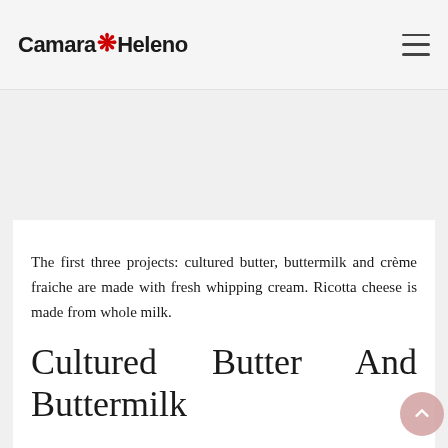Camara Heleno
The first three projects: cultured butter, buttermilk and crème fraiche are made with fresh whipping cream. Ricotta cheese is made from whole milk.
Cultured Butter And Buttermilk
Making butter at home likely conjures thoughts of wooden butter churns, rosy-cheeked milk maids and hours of